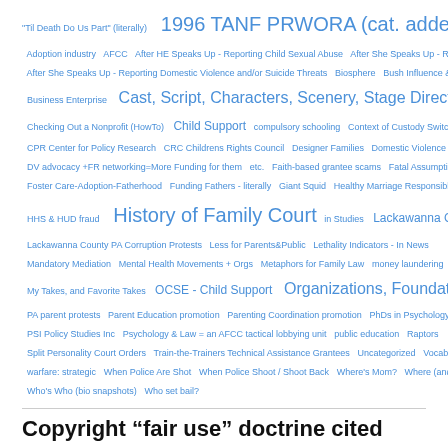Tag cloud with links: 'Til Death Do Us Part (literally), 1996 TANF PRWORA (cat. added 11/2011), Adoption industry, AFCC, After HE Speaks Up - Reporting Child Sexual Abuse, After She Speaks Up - Reporting Child Sexual Abuse, After She Speaks Up - Reporting Domestic Violence and/or Suicide Threats, Biosphere, Bush Influence & Appointees (Cat added 11/2011), Business Enterprise, Cast, Script, Characters, Scenery, Stage Directions, Checking Out a Nonprofit (HowTo), Child Support, compulsory schooling, Context of Custody Switch, CPR Center for Policy Research, CRC Childrens Rights Council, Designer Families, Domestic Violence vs Family Law, DV advocacy +FR networking=More Funding for them, etc., Faith-based grantee scams, Fatal Assumptions, Foster Care-Adoption-Fatherhood, Funding Fathers - literally, Giant Squid, Healthy Marriage Responsible Fatherhood (cat added 11/2011), HHS & HUD fraud, History of Family Court, in Studies, Lackawanna County, Lackawanna County PA Corruption Protests, Less for Parents&Public, Lethality Indicators - In News, Mandatory Mediation, Mental Health Movements + Orgs, Metaphors for Family Law, money laundering, My Takes, and Favorite Takes, OCSE - Child Support, Organizations, Foundations, Associations NGO Hybrids, PA parent protests, Parent Education promotion, Parenting Coordination promotion, PhDs in Psychology-Psychiatry etc (& AFCC), PSI Policy Studies Inc, Psychology & Law = an AFCC tactical lobbying unit, public education, Raptors, Split Personality Court Orders, Train-the-Trainers Technical Assistance Grantees, Uncategorized, Vocabulary Lessons, warfare: strategic, When Police Are Shot, When Police Shoot / Shoot Back, Where's Mom?, Where (and why) DV Prevention meets Fatherhood Promotion, Who's Who (bio snapshots), Who set bail?
Copyright "fair use" doctrine cited USC Title 17 Ch 1 SEC. 107